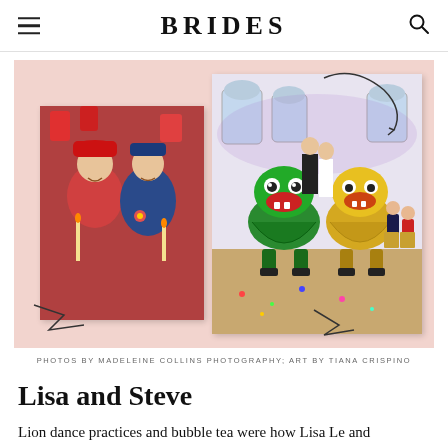BRIDES
[Figure (photo): Two wedding photos on a pink background: left shows a couple in traditional Vietnamese red and blue ao dai attire; right shows two lion dancers (green and yellow) performing inside a reception hall with guests watching and bride and groom in background.]
PHOTOS BY MADELEINE COLLINS PHOTOGRAPHY; ART BY TIANA CRISPINO
Lisa and Steve
Lion dance practices and bubble tea were how Lisa Le and